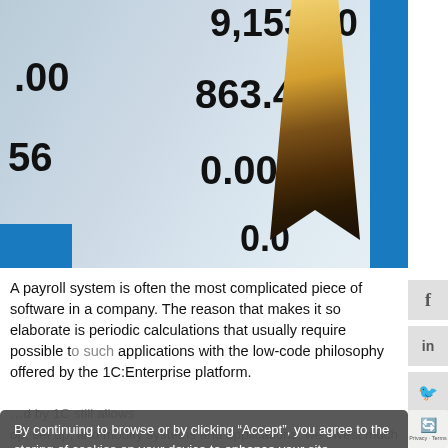[Figure (photo): Close-up photo of a pencil resting on financial/accounting papers showing numbers like 9,153.90, 863.40, 0.00, with blue accents]
A payroll system is often the most complicated piece of software in a company. The reason that makes it so elaborate is periodic calculations that usually require [obscured by cookie overlay] possible to [obscured] such applications with the low-code philosophy offered by the 1C:Enterprise platform. [obscured] by 1C still allows [obscured]op, set up, and modify systems and applications, we invest much effort to reduce it to the minimum. Moreover, unlike other low-code development platforms, 1C:Enterprise does not require third-party programming languages and technologies to build applications used for periodic calculations.
By continuing to browse or by clicking “Accept”, you agree to the storing of cookies on your device to enhance your site experience and for analytical purposes. To learn more about how we use the cookies, please see our cookies policy.